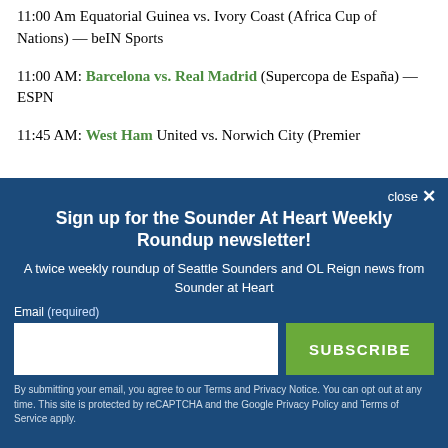11:00 Am Equatorial Guinea vs. Ivory Coast (Africa Cup of Nations) — beIN Sports
11:00 AM: Barcelona vs. Real Madrid (Supercopa de España) — ESPN
11:45 AM: West Ham United vs. Norwich City (Premier
[Figure (other): Newsletter signup modal overlay with blue background. Title: 'Sign up for the Sounder At Heart Weekly Roundup newsletter!'. Subtitle: 'A twice weekly roundup of Seattle Sounders and OL Reign news from Sounder at Heart'. Email input field, SUBSCRIBE button (green), and footer disclaimer text.]